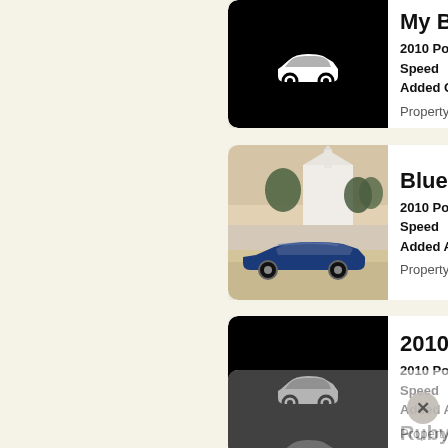[Figure (screenshot): Car listing app screenshot showing 4 Porsche Boxster listings. Card 1: 'My Boxst...' with black placeholder car icon, 2010 Porsche Speed, Added Oct 20, Property of [user]. Card 2: 'Blueberry...' with photo of blue Porsche Boxster near a white building at dusk, 2010 Porsche Speed, Added Aug 20, Property of [user]. Card 3: '2010 Box...' with black placeholder car icon, 2010 Porsche Speed, Added Apr 20, Property of [user] C... Card 4 partial: 'Ruby2' title, 2010 Porsche Dual Clutch T..., dimmed with close button.]